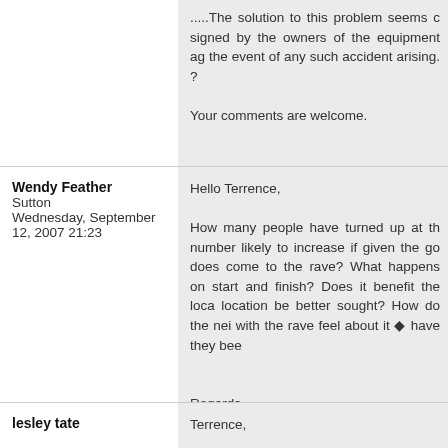.....The solution to this problem seems c signed by the owners of the equipment ag the event of any such accident arising. ?

Your comments are welcome.
Wendy Feather
Sutton
Wednesday, September 12, 2007 21:23
Hello Terrence,

How many people have turned up at th number likely to increase if given the go does come to the rave? What happens on start and finish? Does it benefit the loca location be better sought? How do the nei with the rave feel about it ◆ have they bee

Regards
Wendy
lesley tate
Terrence,